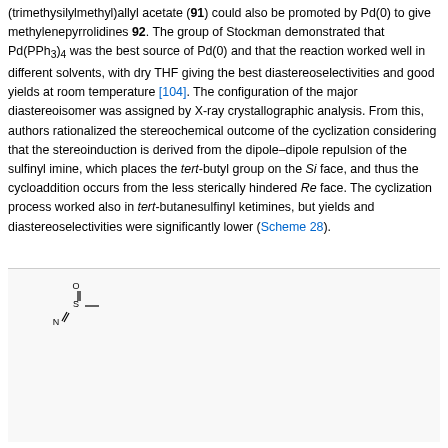(trimethysilylmethyl)allyl acetate (91) could also be promoted by Pd(0) to give methylenepyrrolidines 92. The group of Stockman demonstrated that Pd(PPh3)4 was the best source of Pd(0) and that the reaction worked well in different solvents, with dry THF giving the best diastereoselectivities and good yields at room temperature [104]. The configuration of the major diastereoisomer was assigned by X-ray crystallographic analysis. From this, authors rationalized the stereochemical outcome of the cyclization considering that the stereoinduction is derived from the dipole–dipole repulsion of the sulfinyl imine, which places the tert-butyl group on the Si face, and thus the cycloaddition occurs from the less sterically hindered Re face. The cyclization process worked also in tert-butanesulfinyl ketimines, but yields and diastereoselectivities were significantly lower (Scheme 28).
[Figure (chemistry-diagram): Reaction scheme showing (Rs)-14 (sulfinyl imine with t-Bu group) plus compound 91 (TMS allyl acetate with OAc group) reacting with Pd(PPh3)4 (10 mol %), THF, 23 °C, 18 h to give compound 92 (42-100%, 2:1-7:1 dr). R = Ph, 4-MeC6H4, 4-MeOC6H4, 4-O2NC6H4, 2-HOC6H4, 2-ClC6H4, 2-BrC6H4, Me, n-Pr.]